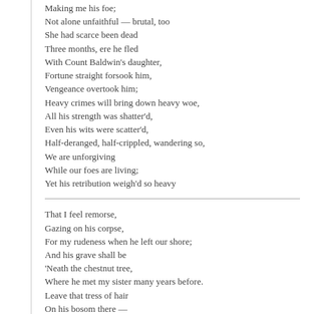Making me his foe;
Not alone unfaithful — brutal, too
She had scarce been dead
Three months, ere he fled
With Count Baldwin's daughter,
Fortune straight forsook him,
Vengeance overtook him;
Heavy crimes will bring down heavy woe,
All his strength was shatter'd,
Even his wits were scatter'd,
Half-deranged, half-crippled, wandering so,
We are unforgiving
While our foes are living;
Yet his retribution weigh'd so heavy
That I feel remorse,
Gazing on his corpse,
For my rudeness when he left our shore;
And his grave shall be
'Neath the chestnut tree,
Where he met my sister many years before.
Leave that tress of hair
On his bosom there —
Wrap the cerecloth round him! E
SCENE — A ROOM IN TH
HUGO and ERIC. Early morning.
Will shorten 'neath the summer's
Pomona in the orchard smiles,